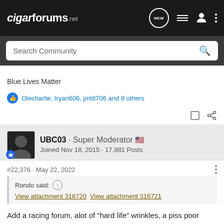cigarforums.net
Search Community
Blue Lives Matter
Olecharlie, tryan606, jmt8706 and 8 others
UBC03 · Super Moderator 🇺🇸
Joined Nov 18, 2015 · 17,881 Posts
#22,376 · May 22, 2022
Rondo said: ↑
View attachment 316720  View attachment 316721
Add a racing forum, alot of "hard life" wrinkles, a piss poor